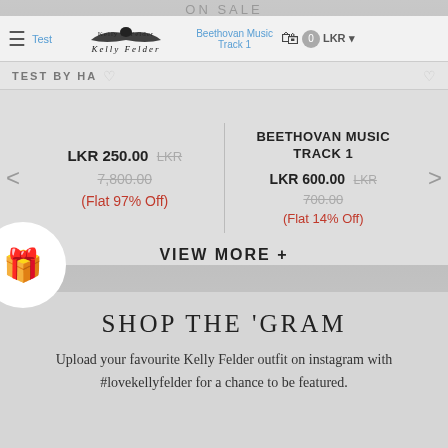ON SALE
[Figure (screenshot): E-commerce website header with Kelly Felder logo, hamburger menu, cart icon showing 0 items, LKR currency selector, navigation links for Test and Beethoven Music Track 1]
TEST BY HA
BEETHOVAN MUSIC TRACK 1
LKR 600.00 LKR 700.00
(Flat 14% Off)
LKR 250.00 LKR 7,800.00
(Flat 97% Off)
VIEW MORE +
SHOP THE 'GRAM
Upload your favourite Kelly Felder outfit on instagram with #lovekellyfelder for a chance to be featured.